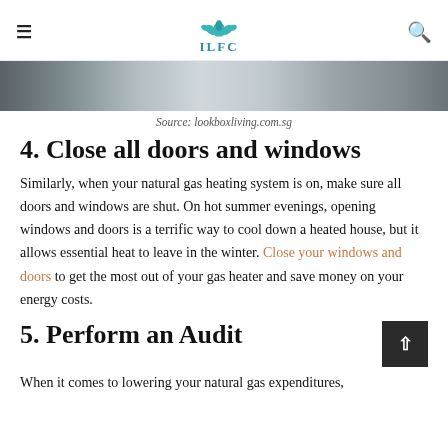ILFC
[Figure (photo): Partial photo strip showing a person in a room, cropped at the top]
Source: lookboxliving.com.sg
4. Close all doors and windows
Similarly, when your natural gas heating system is on, make sure all doors and windows are shut. On hot summer evenings, opening windows and doors is a terrific way to cool down a heated house, but it allows essential heat to leave in the winter. Close your windows and doors to get the most out of your gas heater and save money on your energy costs.
5. Perform an Audit
When it comes to lowering your natural gas expenditures,